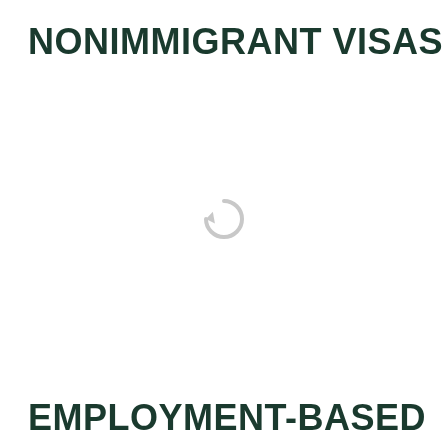NONIMMIGRANT VISAS
[Figure (other): Loading spinner icon (circular arrow), light gray color, centered on page]
EMPLOYMENT-BASED